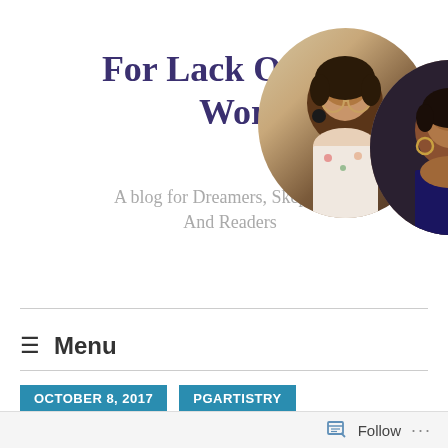For Lack Of Better Words
A blog for Dreamers, Skeptics... And Readers
[Figure (photo): Circular cropped portrait photo of a person with glasses and natural hair wearing a floral top]
[Figure (photo): Circular cropped portrait photo of a person with hand near head against dark background]
≡ Menu
OCTOBER 8, 2017
PGARTISTRY
Follow ...